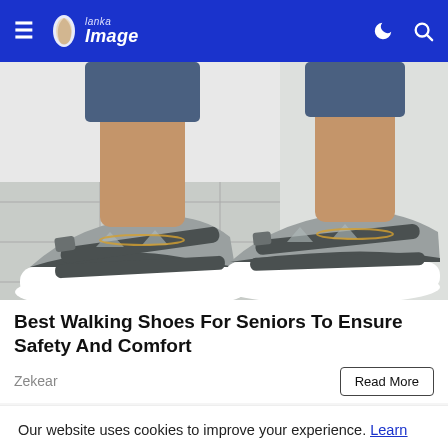≡ Lanka Image (moon icon) (search icon)
[Figure (photo): Close-up photo of a person wearing gray and dark gray athletic walking sandals/shoes with velcro straps and white soles, on a stone floor with a white fluffy mat in the background. Person is wearing jeans and a gold anklet.]
Best Walking Shoes For Seniors To Ensure Safety And Comfort
Zekear
Read More
Our website uses cookies to improve your experience. Learn more
Accept !